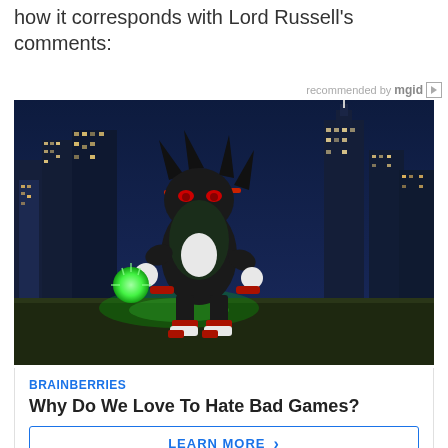how it corresponds with Lord Russell's comments:
recommended by mgid
[Figure (illustration): Animated video game character (Shadow the Hedgehog) standing in front of a nighttime city skyline, holding a glowing green orb. Dark blue night sky, illuminated skyscrapers in background.]
BRAINBERRIES
Why Do We Love To Hate Bad Games?
LEARN MORE